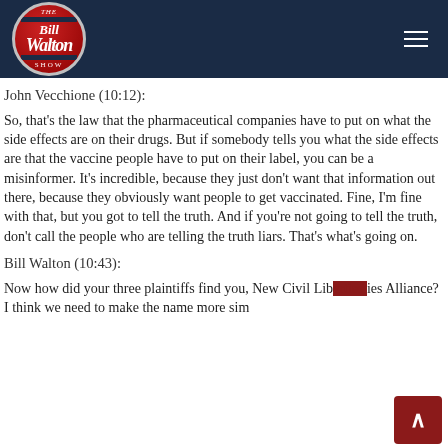[Figure (logo): The Bill Walton Show logo in red circular badge with silver border on dark navy header bar, with hamburger menu icon on the right]
John Vecchione (10:12):
So, that's the law that the pharmaceutical companies have to put on what the side effects are on their drugs. But if somebody tells you what the side effects are that the vaccine people have to put on their label, you can be a misinformer. It's incredible, because they just don't want that information out there, because they obviously want people to get vaccinated. Fine, I'm fine with that, but you got to tell the truth. And if you're not going to tell the truth, don't call the people who are telling the truth liars. That's what's going on.
Bill Walton (10:43):
Now how did your three plaintiffs find you, New Civil Liberties Alliance? I think we need to make the name more sim